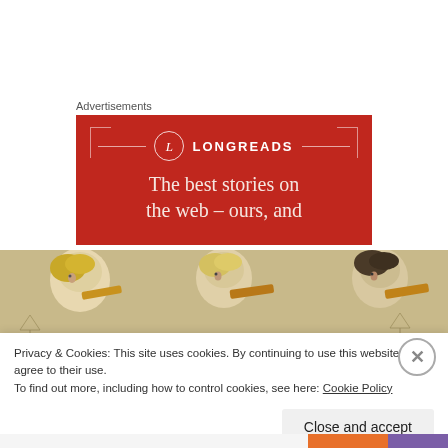Advertisements
[Figure (illustration): Longreads advertisement banner on red background with logo circle containing 'L', brand name LONGREADS, and text 'The best stories on the web – ours, and']
[Figure (photo): Vintage illustration showing three children blowing into horns or instruments, rendered in muted tones]
Privacy & Cookies: This site uses cookies. By continuing to use this website, you agree to their use.
To find out more, including how to control cookies, see here: Cookie Policy
Close and accept